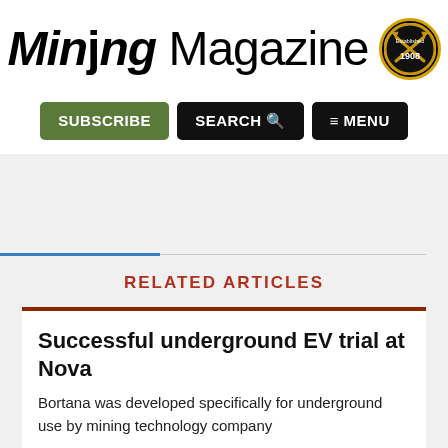[Figure (logo): Mining Magazine logo with bold italic 'Mining' text, 'Magazine' in regular weight, and a circular badge with crossed pickaxes and '1908' text]
[Figure (screenshot): Navigation bar with three buttons: SUBSCRIBE (green), SEARCH with magnifying glass icon (black), and hamburger MENU (black)]
RELATED ARTICLES
Successful underground EV trial at Nova
Bortana was developed specifically for underground use by mining technology company